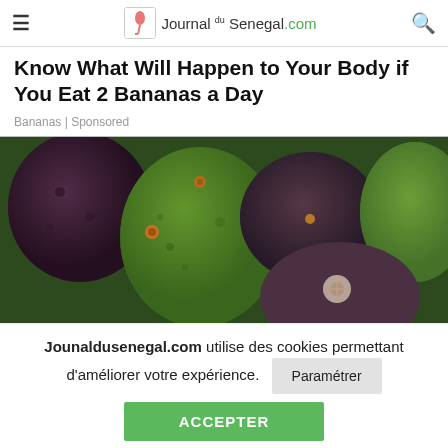Journal du Senegal.com
Know What Will Happen to Your Body if You Eat 2 Bananas a Day
Bananas | Sponsored
[Figure (photo): Close-up photograph of multiple avocados piled together, showing dark green and purplish-brown rough textured skin]
Jounaldusenegal.com utilise des cookies permettant d'améliorer votre expérience. Paramétrer ACCEPTER